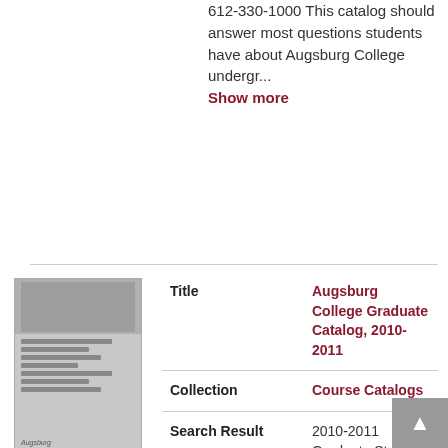612-330-1000 This catalog should answer most questions students have about Augsburg College undergr... Show more
|  | Field | Value |
| --- | --- | --- |
| [thumbnail] | Title | Augsburg College Graduate Catalog, 2010-2011 |
|  | Collection | Course Catalogs |
|  | Search Result | 2010-2011 Graduate Studies Catalog Master of Arts in Education Master of Arts in Leadership Master of Arts in Nursing Doctor of Nursing Practice Master of Business Administration Master of Science in Physician Assistant Studies Master of Social Work at Graduate Studies Catalog 2010-2011 O... Show more |